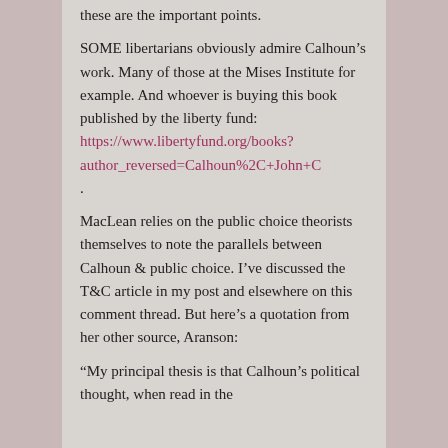these are the important points.
SOME libertarians obviously admire Calhoun’s work. Many of those at the Mises Institute for example. And whoever is buying this book published by the liberty fund: https://www.libertyfund.org/books?author_reversed=Calhoun%2C+John+C
.
MacLean relies on the public choice theorists themselves to note the parallels between Calhoun & public choice. I’ve discussed the T&C article in my post and elsewhere on this comment thread. But here’s a quotation from her other source, Aranson:
“My principal thesis is that Calhoun’s political thought, when read in the